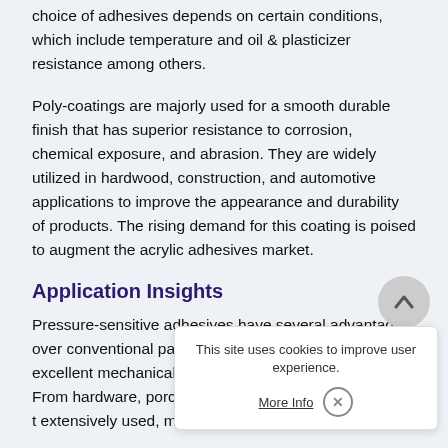choice of adhesives depends on certain conditions, which include temperature and oil & plasticizer resistance among others.
Poly-coatings are majorly used for a smooth durable finish that has superior resistance to corrosion, chemical exposure, and abrasion. They are widely utilized in hardwood, construction, and automotive applications to improve the appearance and durability of products. The rising demand for this coating is poised to augment the acrylic adhesives market.
Application Insights
Pressure-sensitive adhesives have several advantages over conventional packaging materials in terms of excellent mechanical & biological filtration properties. From hardware, porcelain, a… foam packaging materials, th… extensively used, making th…